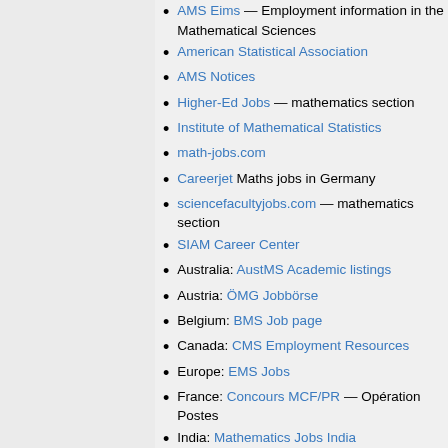AMS Eims — Employment information in the Mathematical Sciences
American Statistical Association
AMS Notices
Higher-Ed Jobs — mathematics section
Institute of Mathematical Statistics
math-jobs.com
Careerjet Maths jobs in Germany
sciencefacultyjobs.com — mathematics section
SIAM Career Center
Australia: AustMS Academic listings
Austria: ÖMG Jobbörse
Belgium: BMS Job page
Canada: CMS Employment Resources
Europe: EMS Jobs
France: Concours MCF/PR — Opération Postes
India: Mathematics Jobs India
Ireland: IMS Jobs-ie
Israel: Israel Mathematical Union
Italy: 3-year assistant positions and professor positions (in Italian)